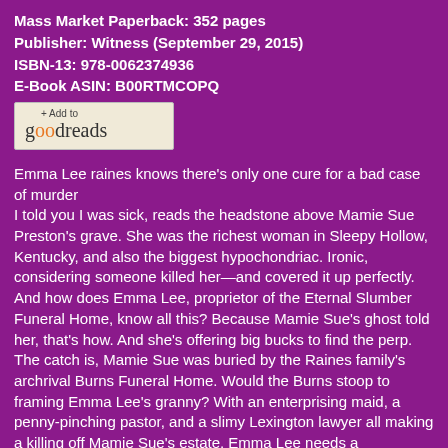Mass Market Paperback: 352 pages
Publisher: Witness (September 29, 2015)
ISBN-13: 978-0062374936
E-Book ASIN: B00RTMCOPQ
[Figure (logo): Add to Goodreads button with orange 'oo' letters]
Emma Lee raines knows there's only one cure for a bad case of murder
I told you I was sick, reads the headstone above Mamie Sue Preston's grave. She was the richest woman in Sleepy Hollow, Kentucky, and also the biggest hypochondriac. Ironic, considering someone killed her—and covered it up perfectly. And how does Emma Lee, proprietor of the Eternal Slumber Funeral Home, know all this? Because Mamie Sue's ghost told her, that's how. And she's offering big bucks to find the perp.
The catch is, Mamie Sue was buried by the Raines family's archrival Burns Funeral Home. Would the Burns stoop to framing Emma Lee's granny? With an enterprising maid, a penny-pinching pastor, and a slimy Lexington lawyer all making a killing off Mamie Sue's estate, Emma Lee needs a